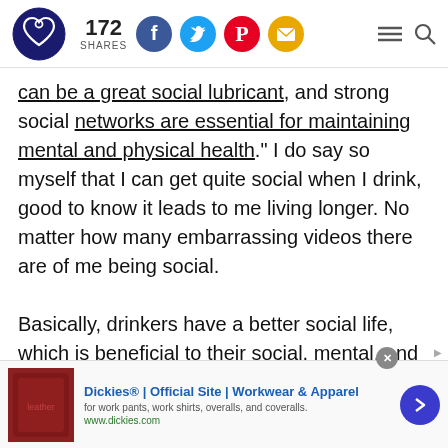172 SHARES [social share icons: Facebook, Twitter, Pinterest, Email] [menu] [search]
can be a great social lubricant, and strong social networks are essential for maintaining mental and physical health." I do say so myself that I can get quite social when I drink, good to know it leads to me living longer. No matter how many embarrassing videos there are of me being social.

Basically, drinkers have a better social life, which is beneficial to their social, mental, and
[Figure (screenshot): Advertisement banner: Dickies® | Official Site | Workwear & Apparel - for work pants, work shirts, overalls, and coveralls. www.dickies.com]